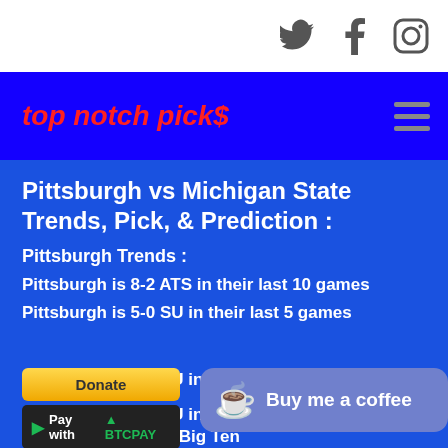top notch pick$
Pittsburgh vs Michigan State Trends, Pick, & Prediction :
Pittsburgh Trends :
Pittsburgh is 8-2 ATS in their last 10 games
Pittsburgh is 5-0 SU in their last 5 games
Pittsburgh is 9-1 SU in their last 10 g
Pittsburgh is 1-7 SU in their last 8 games against an opponent in the Big Ten